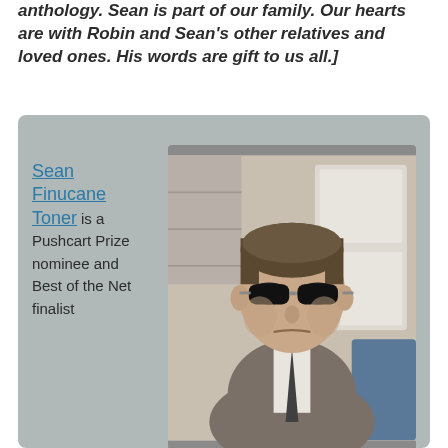anthology. Sean is part of our family. Our hearts are with Robin and Sean's other relatives and loved ones. His words are gift to us all.]
[Figure (photo): A gray box containing a photo of Sean Finucane Toner, a middle-aged man wearing dark oval sunglasses, a grey blazer, white shirt, and dark tie, alongside a biographical text column on the left identifying him as a Pushcart Prize nominee and Best of the Net finalist.]